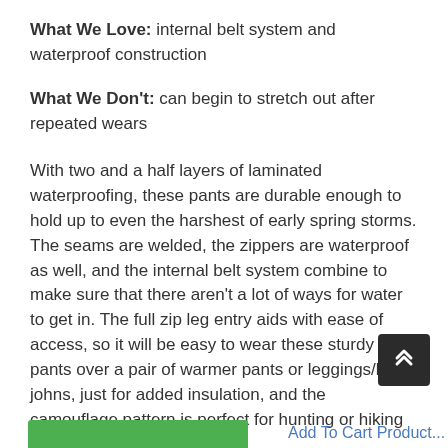What We Love: internal belt system and waterproof construction
What We Don't: can begin to stretch out after repeated wears
With two and a half layers of laminated waterproofing, these pants are durable enough to hold up to even the harshest of early spring storms. The seams are welded, the zippers are waterproof as well, and the internal belt system combine to make sure that there aren't a lot of ways for water to get in. The full zip leg entry aids with ease of access, so it will be easy to wear these sturdy rain pants over a pair of warmer pants or leggings/long johns, just for added insulation, and the camouflage pattern is perfect for hunting or hiking alike.